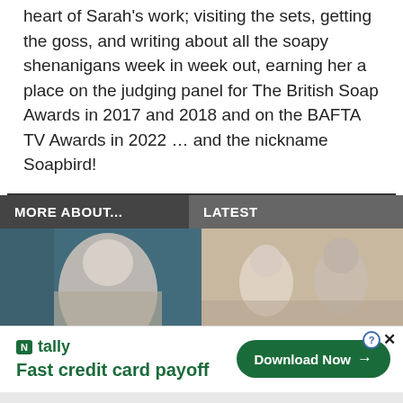heart of Sarah's work; visiting the sets, getting the goss, and writing about all the soapy shenanigans week in week out, earning her a place on the judging panel for The British Soap Awards in 2017 and 2018 and on the BAFTA TV Awards in 2022 … and the nickname Soapbird!
MORE ABOUT...
LATEST
[Figure (photo): Close-up photo of an older man with grey/white hair]
[Figure (photo): Black and white vintage photo of a woman and man in conversation]
tally Fast credit card payoff
Download Now